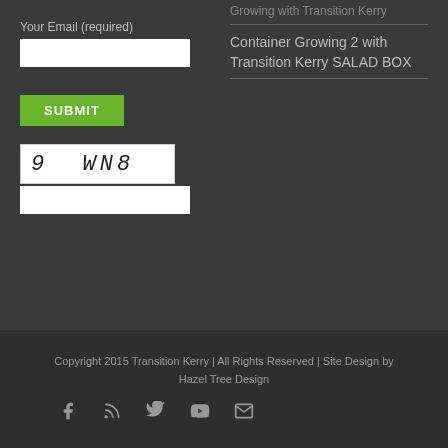Your Email (required)
[Figure (screenshot): Email input field (white rectangle)]
[Figure (screenshot): Submit button with green background, white bold text SUBMIT]
[Figure (screenshot): CAPTCHA image showing '9 WN8' in handwritten style]
[Figure (screenshot): CAPTCHA text input field (white rectangle)]
Container Growing 2 with Transition Kerry SALAD BOX
Copyright 2015 Transition Kerry | All Rights Reserved | Site Design by Hazel Tree Design